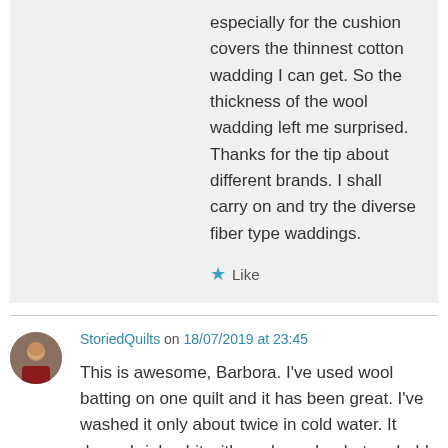especially for the cushion covers the thinnest cotton wadding I can get. So the thickness of the wool wadding left me surprised. Thanks for the tip about different brands. I shall carry on and try the diverse fiber type waddings.
★ Like
StoriedQuilts on 18/07/2019 at 23:45
This is awesome, Barbora. I've used wool batting on one quilt and it has been great. I've washed it only about twice in cold water. It does shrink a bit with each wash – but probably not as much as cotton. I do love the crinkly look, so it's not a problem for me.